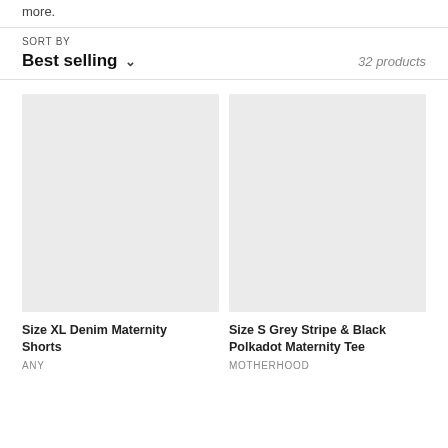more.
SORT BY
Best selling
32 products
[Figure (photo): Product image placeholder for Size XL Denim Maternity Shorts — light grey rectangle]
Size XL Denim Maternity Shorts
ANY
[Figure (photo): Product image placeholder for Size S Grey Stripe & Black Polkadot Maternity Tee — light grey rectangle]
Size S Grey Stripe & Black Polkadot Maternity Tee
MOTHERHOOD